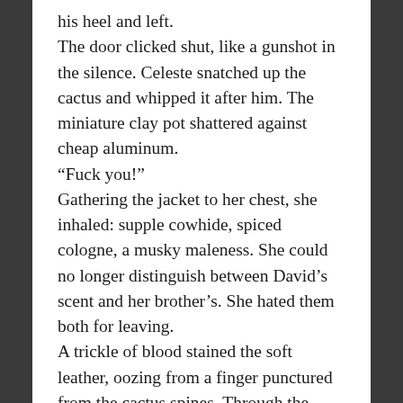his heel and left.
The door clicked shut, like a gunshot in the silence. Celeste snatched up the cactus and whipped it after him. The miniature clay pot shattered against cheap aluminum.
“Fuck you!”
Gathering the jacket to her chest, she inhaled: supple cowhide, spiced cologne, a musky maleness. She could no longer distinguish between David’s scent and her brother’s. She hated them both for leaving.
A trickle of blood stained the soft leather, oozing from a finger punctured from the cactus spines. Through the window, Celeste stared past her washed out reflection, eyes fixed on the desolate